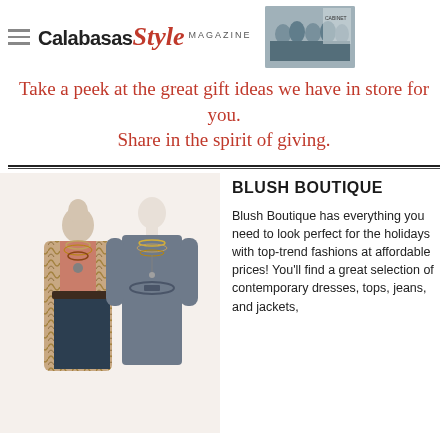Calabasas Style Magazine
Take a peek at the great gift ideas we have in store for you. Share in the spirit of giving.
[Figure (photo): Two mannequins wearing holiday fashion outfits — one in a patterned duster coat with layered necklaces, one in a grey belted dress with layered necklaces.]
BLUSH BOUTIQUE
Blush Boutique has everything you need to look perfect for the holidays with top-trend fashions at affordable prices! You'll find a great selection of contemporary dresses, tops, jeans, and jackets,